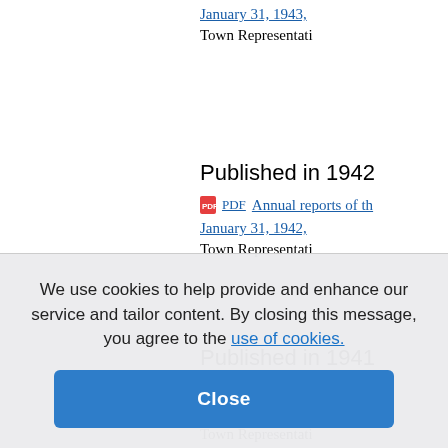Published in 1943
January 31, 1943,
Town Representati
Published in 1942
PDF  Annual reports of th
January 31, 1942,
Town Representati
Published in 1941
PDF  Annual reports of th
January 31, 1941,
Town Representati
Published in 1940
PDF  Annual reports of th
January 31, 1940,
Town Representati
We use cookies to help provide and enhance our service and tailor content. By closing this message, you agree to the use of cookies.